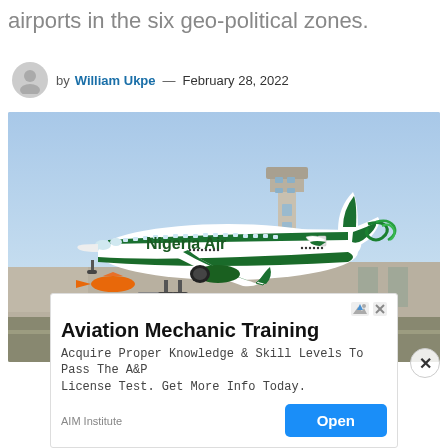airports in the six geo-political zones.
by William Ukpe — February 28, 2022
[Figure (photo): A Nigeria Air branded white and green Boeing 737 aircraft taking off or taxiing at an airport, with a control tower and airport buildings visible in the background.]
Aviation Mechanic Training
Acquire Proper Knowledge & Skill Levels To Pass The A&P License Test. Get More Info Today.
AIM Institute
Open